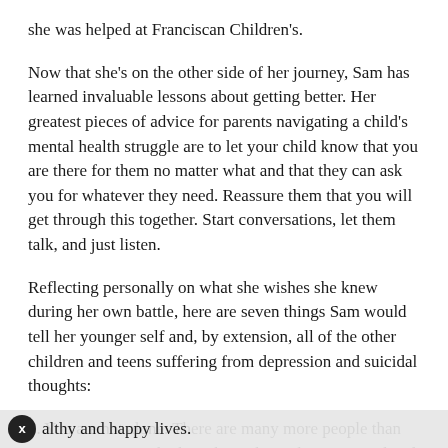she was helped at Franciscan Children's.
Now that she's on the other side of her journey, Sam has learned invaluable lessons about getting better. Her greatest pieces of advice for parents navigating a child's mental health struggle are to let your child know that you are there for them no matter what and that they can ask you for whatever they need. Reassure them that you will get through this together. Start conversations, let them talk, and just listen.
Reflecting personally on what she wishes she knew during her own battle, here are seven things Sam would tell her younger self and, by extension, all of the other children and teens suffering from depression and suicidal thoughts:
1. You are not alone. There are many more people than you can imagine who have been down the same road and are now living healthy and happy lives.